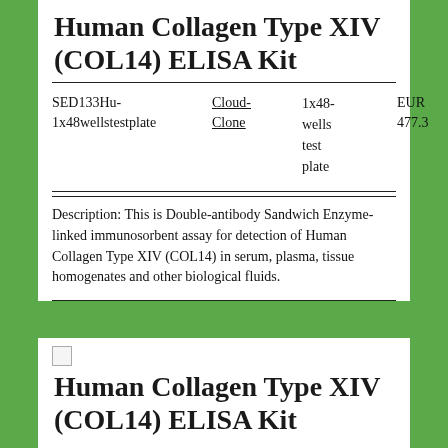Human Collagen Type XIV (COL14) ELISA Kit
| SKU | Brand | Size | Price |
| --- | --- | --- | --- |
| SED133Hu-1x48wellstestplate | Cloud-Clone | 1x48-wells test plate | EUR 477.3 |
Description: This is Double-antibody Sandwich Enzyme-linked immunosorbent assay for detection of Human Collagen Type XIV (COL14) in serum, plasma, tissue homogenates and other biological fluids.
[Figure (other): Broken image icon placeholder]
Human Collagen Type XIV (COL14) ELISA Kit